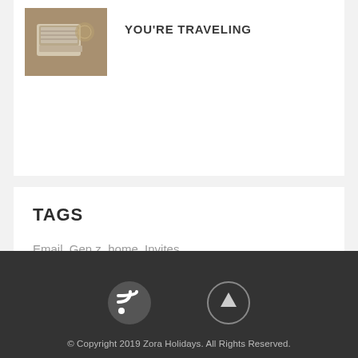[Figure (photo): Laptop and travel maps on a table, top-down view]
YOU'RE TRAVELING
TAGS
Email, Gen z, home, Invites, Marketing, travel, USA, Weddings
[Figure (other): RSS feed icon circle and up-arrow circle icon in footer]
© Copyright 2019 Zora Holidays. All Rights Reserved.